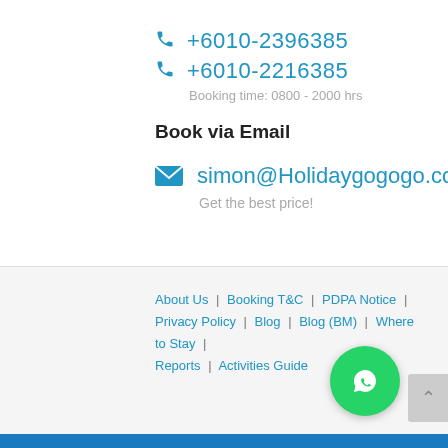+6010-2396385
+6010-2216385
Booking time: 0800 - 2000 hrs
Book via Email
simon@Holidaygogogo.com
Get the best price!
About Us | Booking T&C | PDPA Notice | Privacy Policy | Blog | Blog (BM) | Where to Stay | Reports | Activities Guide